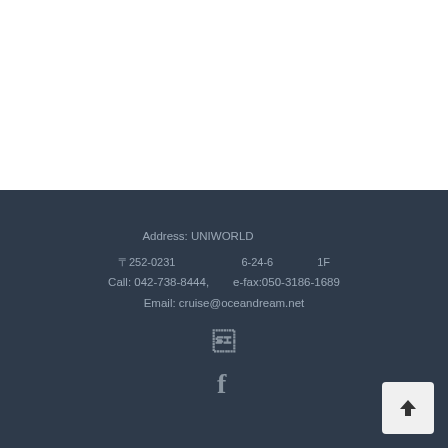Address: UNIWORLD　　　　　　　　　　　　　　 〒252-0231　　　　　　　　　　6-24-6　　　　　　　　　1F Call: 042-738-8444,　　e-fax:050-3186-1689 Email: cruise@oceandream.net